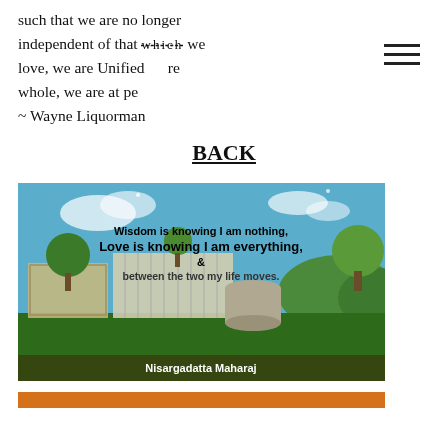such that we are no longer independent of that which we love, we are Unified re whole, we are at pe ~ Wayne Liquorman
BACK
[Figure (photo): A painted landscape scene (fantastical garden/architecture art) with overlaid quote text: 'Wisdom is knowing I am nothing, Love is knowing I am everything, & between the two my life moves.' Attribution: Nisargadatta Maharaj]